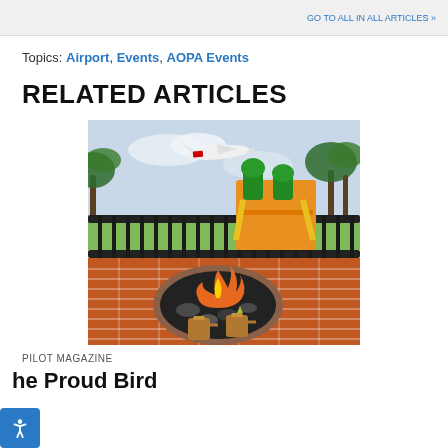GO TO ALL IN ALL ARTICLES »
Topics: Airport, Events, AOPA Events
RELATED ARTICLES
[Figure (photo): Outdoor patio area with a circular fire pit surrounded by brick, copper mugs on the edge, a colorful playground set behind a black iron fence, palm trees, and an airplane visible in the sky above.]
PILOT MAGAZINE
he Proud Bird